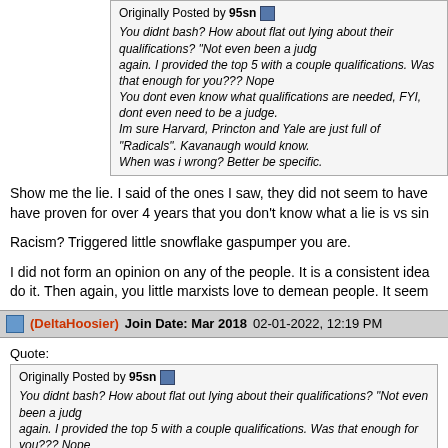Originally Posted by 95sn
You didnt bash? How about flat out lying about their qualifications? "Not even been a judge again. I provided the top 5 with a couple qualifications. Was that enough for you??? Nope. You dont even know what qualifications are needed, FYI, dont even need to be a judge. Im sure Harvard, Princton and Yale are just full of "Radicals". Kavanaugh would know. When was i wrong? Better be specific.
Show me the lie. I said of the ones I saw, they did not seem to have have proven for over 4 years that you don't know what a lie is vs sin
Racism? Triggered little snowflake gaspumper you are.
I did not form an opinion on any of the people. It is a consistent idea do it. Then again, you little marxists love to demean people. It seem
(DeltaHoosier)  Join Date: Mar 2018  02-01-2022, 12:19 PM
Quote:
Originally Posted by 95sn
You didnt bash? How about flat out lying about their qualifications? "Not even been a judg again. I provided the top 5 with a couple qualifications. Was that enough for you??? Nope. You dont even know what qualifications are needed, FYI, dont even need to be a judge. Im sure Harvard, Princton and Yale are just full of "Radicals". Kavanaugh would know. When was i wrong? Better be specific.
Yes. Those institutions are full or radicals and Kavanaugh does kno how. Sounds a lot like a radical attack to me. So you nailed it.
(95sn)  Join Date: Sep 2005  02-01-2022, 12:53 PM
Quote: